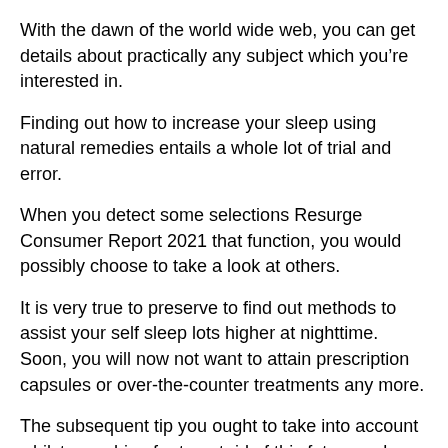With the dawn of the world wide web, you can get details about practically any subject which you’re interested in.
Finding out how to increase your sleep using natural remedies entails a whole lot of trial and error.
When you detect some selections Resurge Consumer Report 2021 that function, you would possibly choose to take a look at others.
It is very true to preserve to find out methods to assist your self sleep lots higher at nighttime. Soon, you will now not want to attain prescription capsules or over-the-counter treatments any more.
The subsequent tip you ought to take into account whilst searching for to get rid of this fats round your stomach is to workout daily! The best technique for you to take away fats is to work out.